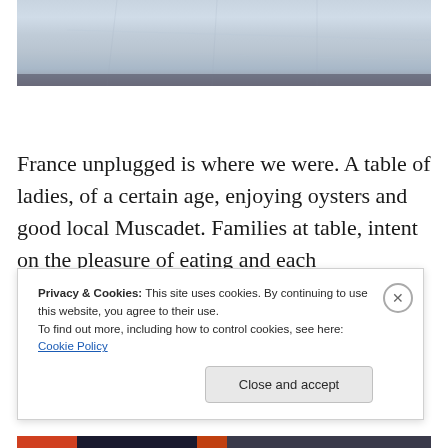[Figure (photo): Close-up photograph of a white or pale blue fabric/textile surface showing wrinkles and folds, with a dark strip visible at the bottom edge of the image.]
France unplugged is where we were. A table of ladies, of a certain age, enjoying oysters and good local Muscadet. Families at table, intent on the pleasure of eating and each other's company. The ease of white burgundy on the table in
Privacy & Cookies: This site uses cookies. By continuing to use this website, you agree to their use.
To find out more, including how to control cookies, see here: Cookie Policy
Close and accept